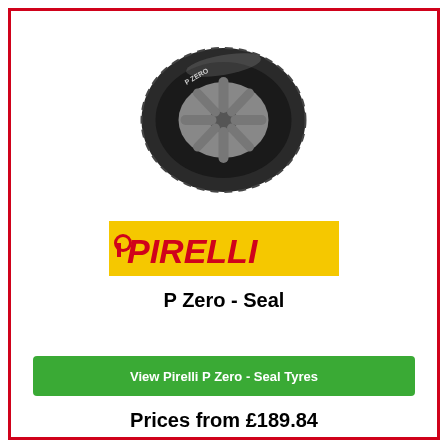[Figure (photo): Pirelli tyre viewed at an angle showing tread pattern and sidewall, mounted on a silver alloy wheel]
[Figure (logo): Pirelli logo: yellow background with red italic PIRELLI text and P logo mark]
P Zero - Seal
View Pirelli P Zero - Seal Tyres
Prices from £189.84